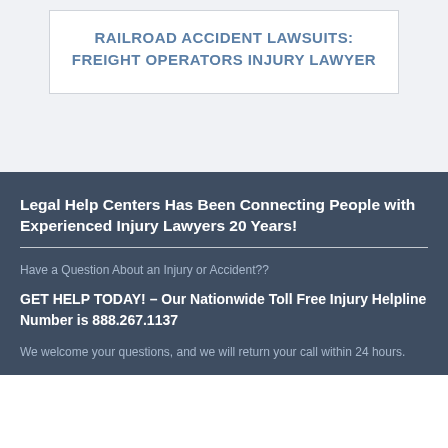RAILROAD ACCIDENT LAWSUITS: FREIGHT OPERATORS INJURY LAWYER
Legal Help Centers Has Been Connecting People with Experienced Injury Lawyers 20 Years!
Have a Question About an Injury or Accident??
GET HELP TODAY! – Our Nationwide Toll Free Injury Helpline Number is 888.267.1137
We welcome your questions, and we will return your call within 24 hours.